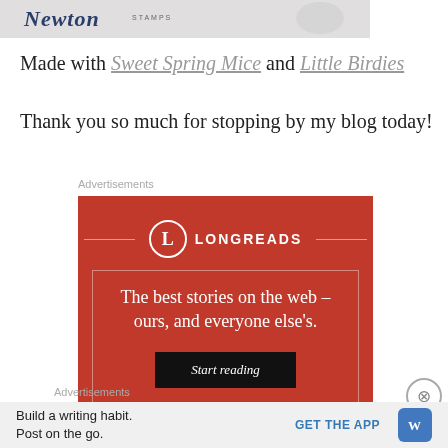[Figure (logo): Partial stamp brand logo image at top]
Made with Sweet Spring Mice and Little Birdies
Thank you so much for stopping by my blog today!
Advertisements
[Figure (screenshot): Longreads advertisement: red background with logo, tagline 'The best stories on the web – ours, and everyone else's.' and 'Start reading' button]
Advertisements
Build a writing habit. Post on the go.